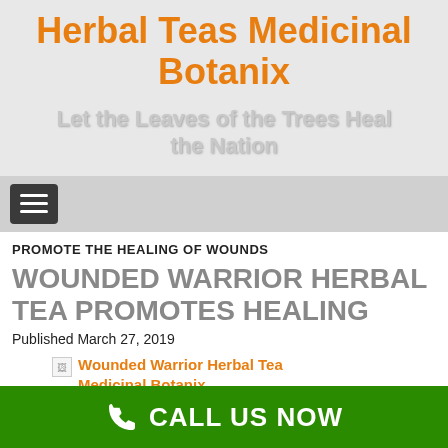Herbal Teas Medicinal Botanix
Let the Leaves of the Trees Heal the Nation
[Figure (other): Hamburger/navigation menu button icon]
PROMOTE THE HEALING OF WOUNDS
WOUNDED WARRIOR HERBAL TEA PROMOTES HEALING
Published March 27, 2019
[Figure (photo): Broken image placeholder labeled: Wounded Warrior Herbal Tea Medicinal Botanix]
CALL US NOW